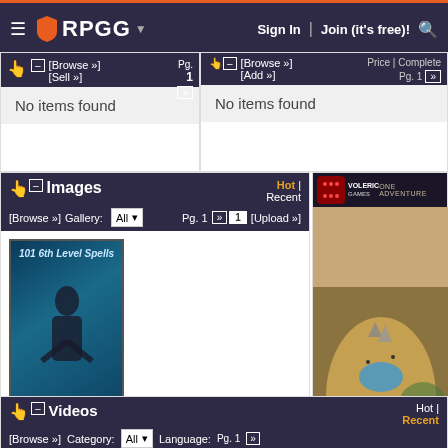RPGG — Sign In  Join (it's free)!
No items found
No items found
Images
Hot | Recent  Gallery: All  Pg. 1
[Figure (illustration): Book cover for '101 6th Level Spells' showing a robed wizard figure on a teal/dark blue background]
[Figure (map): Fantasy world map labeled 'WORLD MAP' with terrain, a compass rose, and landmass features]
Videos
Hot | Recent  Category: All  Language:  Pg. 1